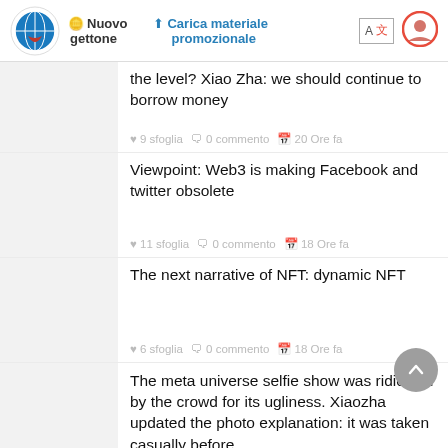CoinCrypto | Nuovo gettone | Carica materiale promozionale | A X | user icon
the level? Xiao Zha: we should continue to borrow money
♥ 9 sfoglia  🗨 0 commento  📅 20 Ore fa
Viewpoint: Web3 is making Facebook and twitter obsolete
♥ 11 sfoglia  🗨 0 commento  📅 18 Ore fa
The next narrative of NFT: dynamic NFT
♥ 6 sfoglia  🗨 0 commento  📅 18 Ore fa
The meta universe selfie show was ridiculed by the crowd for its ugliness. Xiaozha updated the photo explanation: it was taken casually before